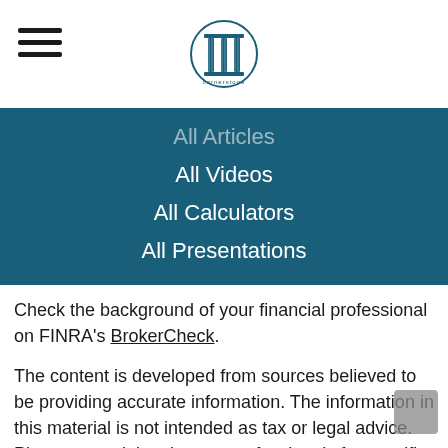Cornerstone [logo]
All Articles
All Videos
All Calculators
All Presentations
Check the background of your financial professional on FINRA's BrokerCheck.
The content is developed from sources believed to be providing accurate information. The information in this material is not intended as tax or legal advice. Please consult legal or tax professionals for specific information regarding your individual situation. Some of this material was developed and produced by FMG Suite to provide information on a topic that may be of interest. FMG Suite is not affiliated with the named representative, broker - dealer, state - or SEC - registered investment advisory firm. The opinions expressed and material provided are